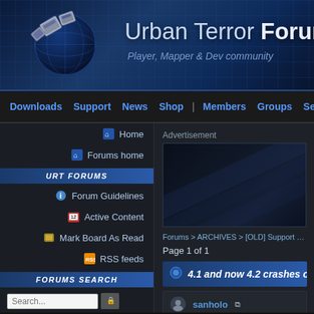Urban Terror Forums — Player, Mapper & Dev community
Downloads  Support  News  Shop  |  Members  Groups  Servers  Forums
Home
Forums home
URT FORUMS
Forum Guidelines
Active Content
Mark Board As Read
RSS feeds
FORUMS SEARCH
Search...
Advanced Search
FORUMS USERS
Advertisement
Forums > ARCHIVES > [OLD] Support Forums > Mac
Page 1 of 1
4.1 and now 4.2 crashes on 10...
sanholo